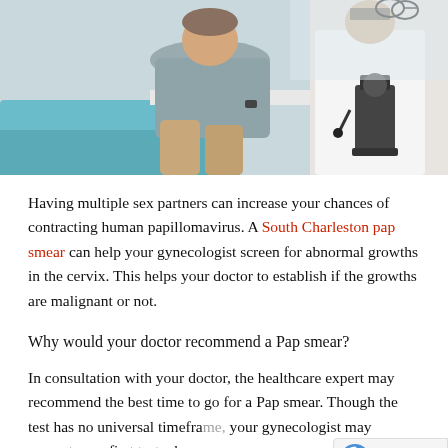[Figure (photo): A medical consultation scene showing a patient (woman in gray clothing) seated on an exam chair and a doctor (in white coat) with a microscope in the background]
Having multiple sex partners can increase your chances of contracting human papillomavirus. A South Charleston pap smear can help your gynecologist screen for abnormal growths in the cervix. This helps your doctor to establish if the growths are malignant or not.
Why would your doctor recommend a Pap smear?
In consultation with your doctor, the healthcare expert may recommend the best time to go for a Pap smear. Though the test has no universal timeframe, your gynecologist may request your first test wh... you turn 21 years old. Your doctor may also request...